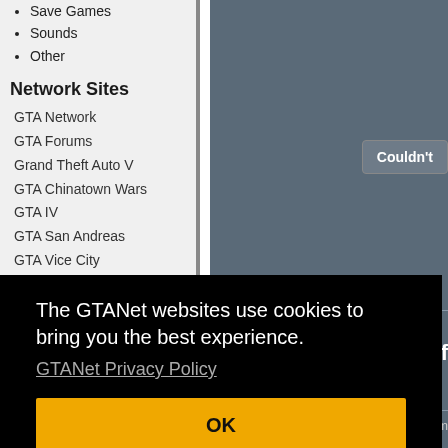Save Games
Sounds
Other
Network Sites
GTA Network
GTA Forums
Grand Theft Auto V
GTA Chinatown Wars
GTA IV
GTA San Andreas
GTA Vice City
GTA III
GTA Garage
GTA Modding
The GTANet websites use cookies to bring you the best experience.
GTANet Privacy Policy
OK
Couldn't
SION of
ecord car m
Installation: